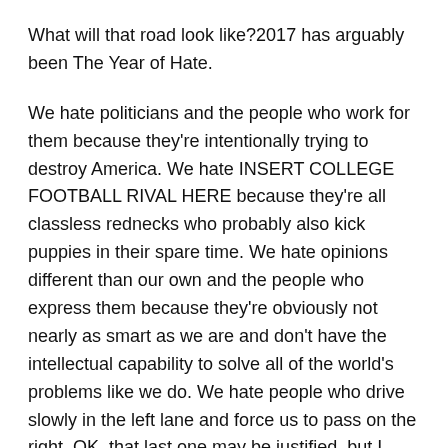What will that road look like?2017 has arguably been The Year of Hate.
We hate politicians and the people who work for them because they're intentionally trying to destroy America. We hate INSERT COLLEGE FOOTBALL RIVAL HERE because they're all classless rednecks who probably also kick puppies in their spare time. We hate opinions different than our own and the people who express them because they're obviously not nearly as smart as we are and don't have the intellectual capability to solve all of the world's problems like we do. We hate people who drive slowly in the left lane and force us to pass on the right. OK, that last one may be justified, but I digress.
Anyway, we hate and have no problem saying it to anyone who'll listen to our rants. Talk radio, social media, newspaper op-eds, etc. If there's an outlet for us to express our hate toward a person, group, or idea, we took 2017 as the year to let everybody